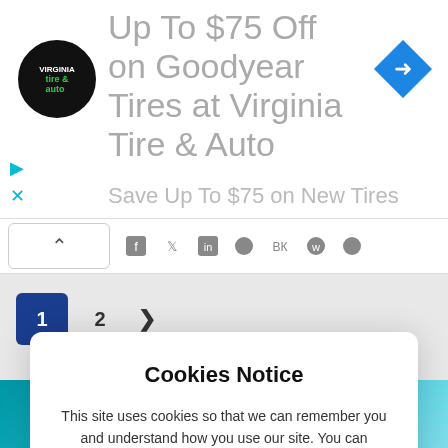[Figure (screenshot): Advertisement banner for Virginia Tire & Auto showing Goodyear tire deal: 'Up To $75 Off on Goodyear Tires at Virginia Tire & Auto' with logo and blue navigation arrow icon]
[Figure (screenshot): Social share bar with upward chevron/collapse button and social media icons: Facebook, Twitter, LinkedIn, and others]
1  2  >
Cookies Notice
This site uses cookies so that we can remember you and understand how you use our site. You can change this message and links below in your site.
Please read our Cookies & Privacy policies
I Agree
[Figure (photo): Partial bottom strip showing a teal/blue colored image]